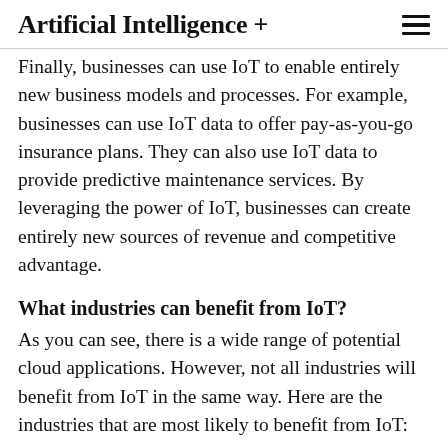Artificial Intelligence +
Finally, businesses can use IoT to enable entirely new business models and processes. For example, businesses can use IoT data to offer pay-as-you-go insurance plans. They can also use IoT data to provide predictive maintenance services. By leveraging the power of IoT, businesses can create entirely new sources of revenue and competitive advantage.
What industries can benefit from IoT?
As you can see, there is a wide range of potential cloud applications. However, not all industries will benefit from IoT in the same way. Here are the industries that are most likely to benefit from IoT: